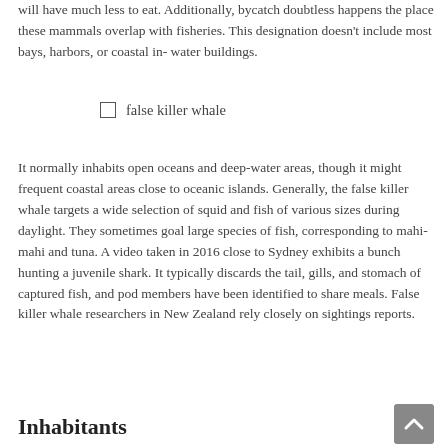will have much less to eat. Additionally, bycatch doubtless happens the place these mammals overlap with fisheries. This designation doesn't include most bays, harbors, or coastal in-water buildings.
☐ false killer whale
It normally inhabits open oceans and deep-water areas, though it might frequent coastal areas close to oceanic islands. Generally, the false killer whale targets a wide selection of squid and fish of various sizes during daylight. They sometimes goal large species of fish, corresponding to mahi-mahi and tuna. A video taken in 2016 close to Sydney exhibits a bunch hunting a juvenile shark. It typically discards the tail, gills, and stomach of captured fish, and pod members have been identified to share meals. False killer whale researchers in New Zealand rely closely on sightings reports.
Inhabitants